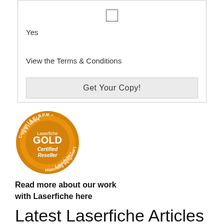[Figure (other): Form box with checkbox, 'Yes' label, 'View the Terms & Conditions' text, and 'Get Your Copy!' button]
Yes
View the Terms & Conditions
Get Your Copy!
[Figure (logo): Laserfiche GOLD Certified Reseller badge — circular orange badge with text: Capture I & II, B.P.M., Laserfiche Specialist, Admin I & II around the border, and 'Laserfiche GOLD Certified Reseller' in the center]
Read more about our work with Laserfiche here
Latest Laserfiche Articles